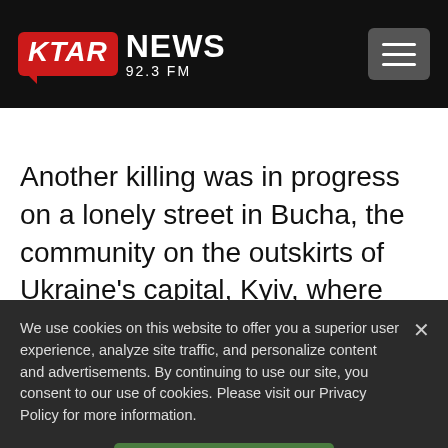[Figure (logo): KTAR NEWS 92.3 FM logo with red speech-bubble box containing 'KTAR' in white italic bold text, followed by 'NEWS' in white bold and '92.3 FM' below in white. A hamburger menu button appears top right.]
Another killing was in progress on a lonely street in Bucha, the community on the outskirts of Ukraine’s capital, Kyiv, where bodies of civilians are still being discovered weeks after Russian soldiers withdrew. Many
We use cookies on this website to offer you a superior user experience, analyze site traffic, and personalize content and advertisements. By continuing to use our site, you consent to our use of cookies. Please visit our Privacy Policy for more information.
Accept Cookies